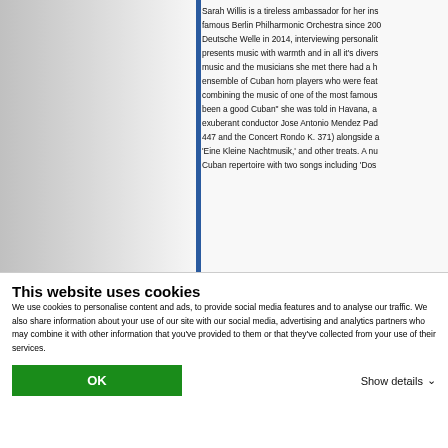Sarah Willis is a tireless ambassador for her ins... famous Berlin Philharmonic Orchestra since 200... Deutsche Welle in 2014, interviewing personalit... presents music with warmth and in all it's divers... music and the musicians she met there had a h... ensemble of Cuban horn players who were feat... combining the music of one of the most famous... been a good Cuban" she was told in Havana, a... exuberant conductor Jose Antonio Mendez Pad... 447 and the Concert Rondo K. 371) alongside a... 'Eine Kleine Nachtmusik,' and other treats. A nu... Cuban repertoire with two songs including 'Dos
This website uses cookies
We use cookies to personalise content and ads, to provide social media features and to analyse our traffic. We also share information about your use of our site with our social media, advertising and analytics partners who may combine it with other information that you've provided to them or that they've collected from your use of their services.
OK
Show details